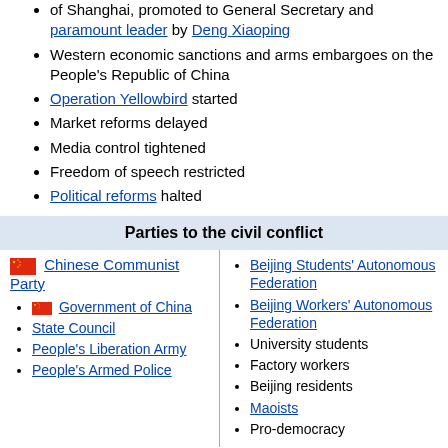of Shanghai, promoted to General Secretary and paramount leader by Deng Xiaoping
Western economic sanctions and arms embargoes on the People's Republic of China
Operation Yellowbird started
Market reforms delayed
Media control tightened
Freedom of speech restricted
Political reforms halted
Parties to the civil conflict
Chinese Communist Party
Government of China
State Council
People's Liberation Army
People's Armed Police
Beijing Students' Autonomous Federation
Beijing Workers' Autonomous Federation
University students
Factory workers
Beijing residents
Maoists
Pro-democracy